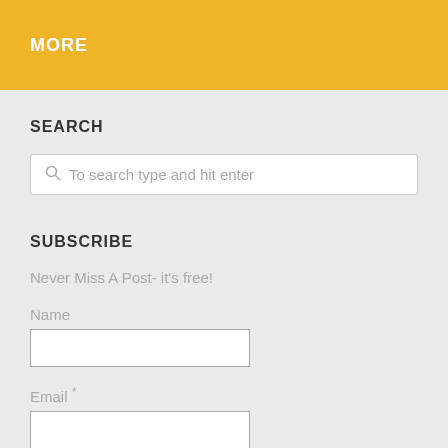MORE
SEARCH
To search type and hit enter
SUBSCRIBE
Never Miss A Post- it's free!
Name
Email *